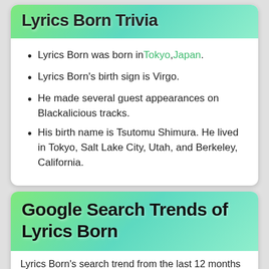Lyrics Born Trivia
Lyrics Born was born in Tokyo, Japan.
Lyrics Born's birth sign is Virgo.
He made several guest appearances on Blackalicious tracks.
His birth name is Tsutomu Shimura. He lived in Tokyo, Salt Lake City, Utah, and Berkeley, California.
Google Search Trends of Lyrics Born
Lyrics Born's search trend from the last 12 months (The below graph report is directly